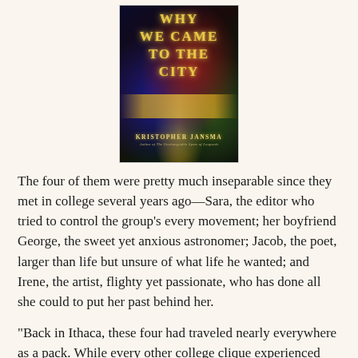[Figure (illustration): Book cover for 'Why We Came to the City' by Kristopher Jansma, showing a dark city night scene with glowing golden title text and city lights]
The four of them were pretty much inseparable since they met in college several years ago—Sara, the editor who tried to control the group's every movement; her boyfriend George, the sweet yet anxious astronomer; Jacob, the poet, larger than life but unsure of what life he wanted; and Irene, the artist, flighty yet passionate, who has done all she could to put her past behind her.
"Back in Ithaca, these four had traveled nearly everywhere as a pack. While every other college clique experienced seismic shifts and occasional mergers, they had never grown apart."
One winter night, the four meet at a posh reception thrown by the owners of the gallery where Irene works. They encounter another